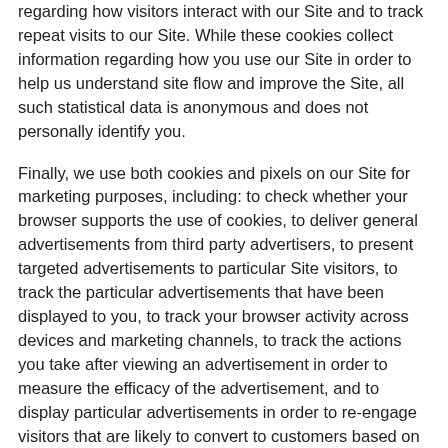regarding how visitors interact with our Site and to track repeat visits to our Site. While these cookies collect information regarding how you use our Site in order to help us understand site flow and improve the Site, all such statistical data is anonymous and does not personally identify you.
Finally, we use both cookies and pixels on our Site for marketing purposes, including: to check whether your browser supports the use of cookies, to deliver general advertisements from third party advertisers, to present targeted advertisements to particular Site visitors, to track the particular advertisements that have been displayed to you, to track your browser activity across devices and marketing channels, to track the actions you take after viewing an advertisement in order to measure the efficacy of the advertisement, and to display particular advertisements in order to re-engage visitors that are likely to convert to customers based on those visitors' online behavior across websites.